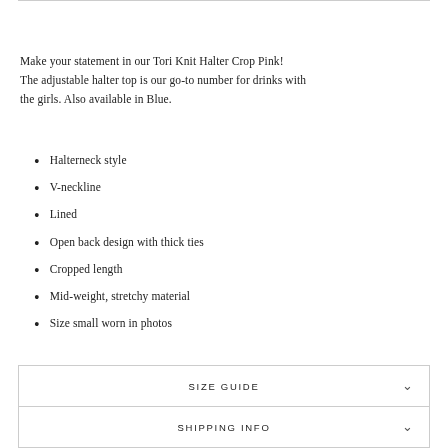Make your statement in our Tori Knit Halter Crop Pink! The adjustable halter top is our go-to number for drinks with the girls. Also available in Blue.
Halterneck style
V-neckline
Lined
Open back design with thick ties
Cropped length
Mid-weight, stretchy material
Size small worn in photos
SIZE GUIDE
SHIPPING INFO